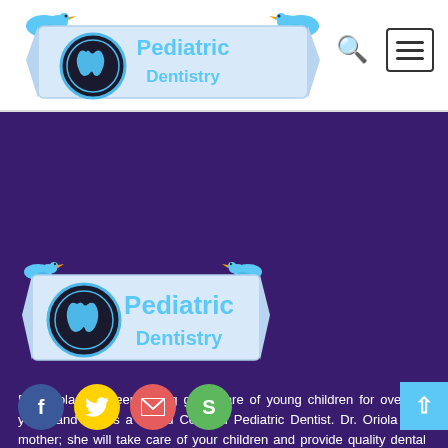[Figure (logo): Pediatric Dentistry logo banner with circular tooth icon and blue bird decorations in white header bar]
[Figure (logo): Pediatric Dentistry logo banner with circular tooth icon and blue bird decorations on purple background]
Dr. Oriola has been taking good care of young children for over 30 years and she is a Board Certified Pediatric Dentist. Dr. Oriola is a mother; she will take care of your children and provide quality dental service.
[Figure (infographic): Social media icons row: Facebook (blue), Twitter (yellow), Email (red/pink), Skype (green)]